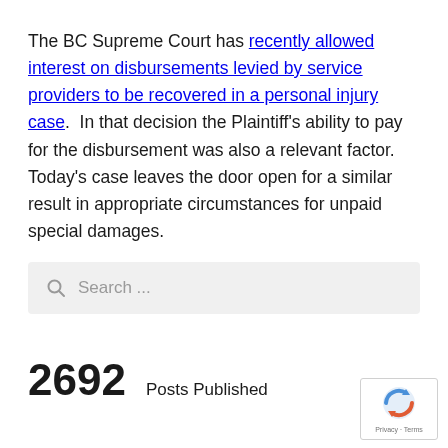The BC Supreme Court has recently allowed interest on disbursements levied by service providers to be recovered in a personal injury case.  In that decision the Plaintiff's ability to pay for the disbursement was also a relevant factor.  Today's case leaves the door open for a similar result in appropriate circumstances for unpaid special damages.
[Figure (other): Search bar with magnifying glass icon and placeholder text 'Search ...']
2692  Posts Published
[Figure (logo): Google reCAPTCHA badge with reCAPTCHA logo, Privacy and Terms links]